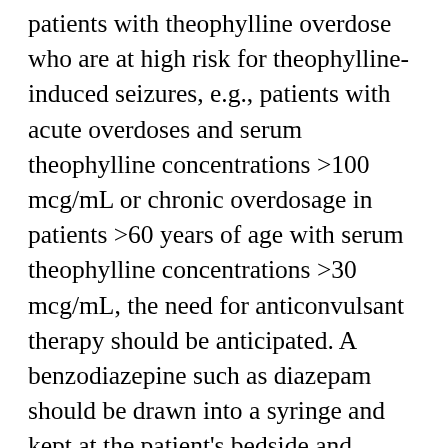patients with theophylline overdose who are at high risk for theophylline-induced seizures, e.g., patients with acute overdoses and serum theophylline concentrations >100 mcg/mL or chronic overdosage in patients >60 years of age with serum theophylline concentrations >30 mcg/mL, the need for anticonvulsant therapy should be anticipated. A benzodiazepine such as diazepam should be drawn into a syringe and kept at the patient's bedside and medical personnel qualified to treat seizures should be immediately available. In selected patients at high risk for theophylline-induced seizures, consideration should be given to the administration of prophylactic anticonvulsant therapy. Situations where prophylactic